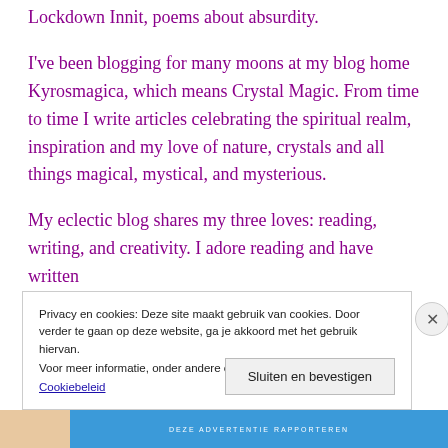Lockdown Innit, poems about absurdity.
I've been blogging for many moons at my blog home Kyrosmagica, which means Crystal Magic. From time to time I write articles celebrating the spiritual realm, inspiration and my love of nature, crystals and all things magical, mystical, and mysterious.
My eclectic blog shares my three loves: reading, writing, and creativity. I adore reading and have written
Privacy en cookies: Deze site maakt gebruik van cookies. Door verder te gaan op deze website, ga je akkoord met het gebruik hiervan. Voor meer informatie, onder andere over cookiebeheer, bekijk je: Cookiebeleid
Sluiten en bevestigen